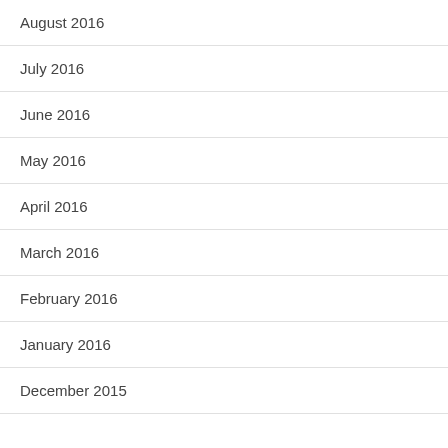August 2016
July 2016
June 2016
May 2016
April 2016
March 2016
February 2016
January 2016
December 2015